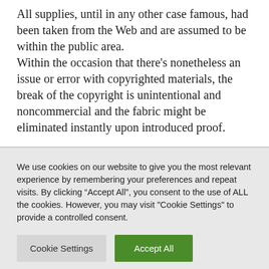All supplies, until in any other case famous, had been taken from the Web and are assumed to be within the public area. Within the occasion that there's nonetheless an issue or error with copyrighted materials, the break of the copyright is unintentional and noncommercial and the fabric might be eliminated instantly upon introduced proof.
We use cookies on our website to give you the most relevant experience by remembering your preferences and repeat visits. By clicking "Accept All", you consent to the use of ALL the cookies. However, you may visit "Cookie Settings" to provide a controlled consent.